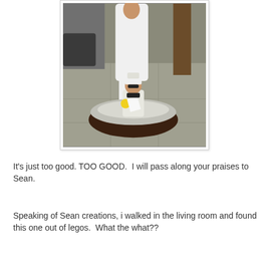[Figure (photo): A woman dressed in white standing on a sidewalk next to a child in a captain's costume sitting inside a toy boat prop. There is a tree and street visible in the background.]
It's just too good. TOO GOOD.  I will pass along your praises to Sean.
Speaking of Sean creations, i walked in the living room and found this one out of legos.  What the what??